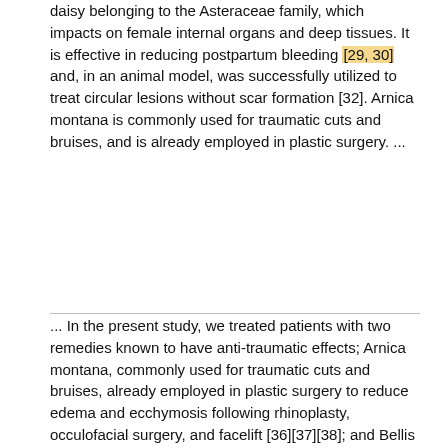daisy belonging to the Asteraceae family, which impacts on female internal organs and deep tissues. It is effective in reducing postpartum bleeding [29, 30] and, in an animal model, was successfully utilized to treat circular lesions without scar formation [32]. Arnica montana is commonly used for traumatic cuts and bruises, and is already employed in plastic surgery. ...
... In the present study, we treated patients with two remedies known to have anti-traumatic effects; Arnica montana, commonly used for traumatic cuts and bruises, already employed in plastic surgery to reduce edema and ecchymosis following rhinoplasty, occulofacial surgery, and facelift [36][37][38]; and Bellis perennis, effective in reducing postpartum bleeding [29, 30]. Homeopathic treatment reduced mean drainage time by 2.4 days, from 13.5 days in the placebo group to 11.1 days in the study group (P < 0.05). ...
[Figure (other): Advertisement banner with applied biosystems logo and infinity symbol graphic. Text: Free T-Shirt anyone?]